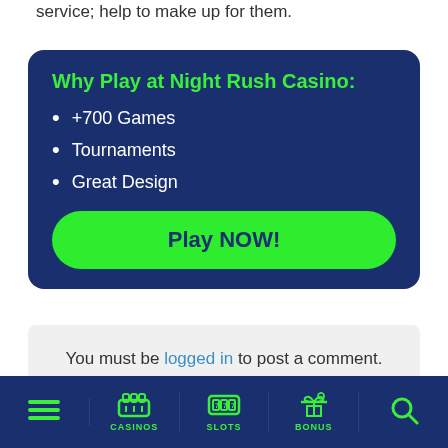service; help to make up for them.
Why Play at Night Rush Casino:
+700 Games
Tournaments
Great Design
Play NOW!
You must be logged in to post a comment.
≡  CASINOS  SLOTS  BONUS  🔍